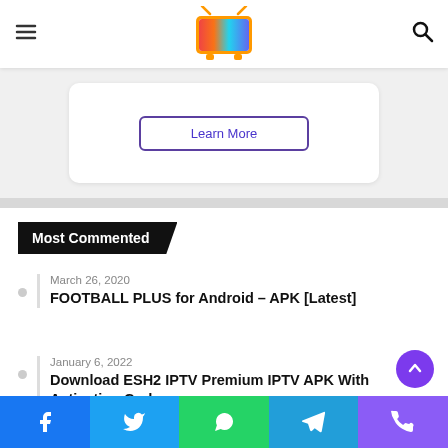Navigation header with hamburger menu, logo, and search icon
[Figure (screenshot): Partial card with 'Learn More' button visible at top of page]
Most Commented
March 26, 2020
FOOTBALL PLUS for Android – APK [Latest]
January 6, 2022
Download ESH2 IPTV Premium IPTV APK With Activation Code
Social share bar: Facebook, Twitter, WhatsApp, Telegram, Phone